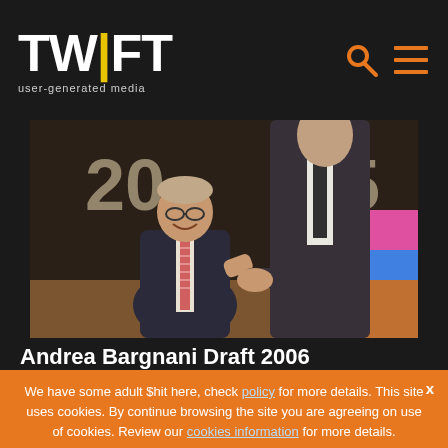TWIFT user-generated media
[Figure (photo): Two men in suits shaking hands at what appears to be the 2006 NBA Draft. One shorter older man smiling and one very tall younger man. Background shows colorful panels and a '20' and '25' partially visible.]
Andrea Bargnani Draft 2006
We have some adult $hit here, check policy for more details. This site uses cookies. By continue browsing the site you are agreeing on use of cookies. Review our cookies information for more details.
I accept